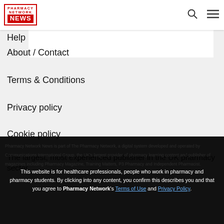PHARMACY NETWORK NEWS
Help
About / Contact
Terms & Conditions
Privacy policy
Cookie policy
The largest, most experienced publisher in the UK pharmacy sector
Pharmacy Network News is part of The Pharmacy Network, a digital system developed and operated by Communications International Group, the UK's largest provider of pharmacy learning content and publisher of magazines including Pharmacy Magazine, Training Matters, P3 Pharmacy and Independent Pharmacist.
This website is for healthcare professionals, people who work in pharmacy and pharmacy students. By clicking into any content, you confirm this describes you and that you agree to Pharmacy Network's Terms of Use and Privacy Policy.